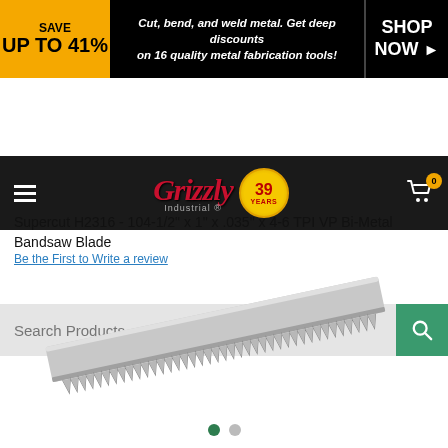[Figure (screenshot): Grizzly Industrial website banner ad: yellow left section reads SAVE UP TO 41%, center on black background reads italic text Cut, bend, and weld metal. Get deep discounts on 16 quality metal fabrication tools!, right section reads SHOP NOW with arrow]
[Figure (screenshot): Grizzly Industrial website navigation bar with hamburger menu, Grizzly Industrial logo with 39 Years badge, and shopping cart icon with 0 badge]
[Figure (screenshot): Search Products input bar with teal search button]
Supercut H2316 - 104-1/2" x 1" x .035" x 4-6 TPI VP Bi-Metal Bandsaw Blade
Be the First to Write a review
[Figure (photo): Photo of a long bi-metal bandsaw blade shown at a diagonal angle, silver/grey colored with serrated teeth visible along the bottom edge]
[Figure (other): Carousel navigation dots: one green active dot and one grey inactive dot]